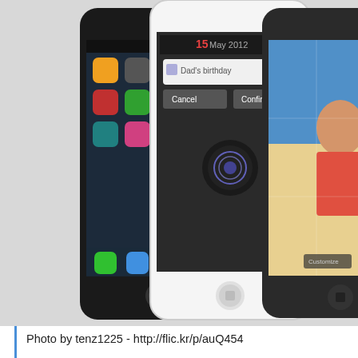[Figure (photo): Three smartphones side by side: a black iPhone on the left showing home screen icons, a white iPhone in the center showing Siri interface with 'Dad's birthday' reminder for May 15 2012, and a dark smartphone on the right showing a photo of a smiling girl.]
Photo by tenz1225 - http://flic.kr/p/auQ454
After making headlines in 2010 by yanking its recommendation of the iPhone 4, the advocacy group Consumer Reports is now picking Android